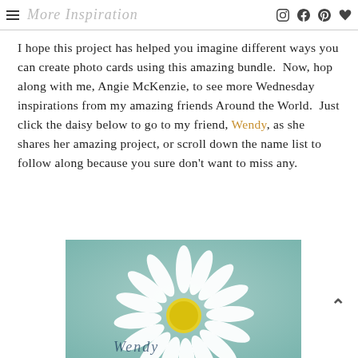More Inspiration
I hope this project has helped you imagine different ways you can create photo cards using this amazing bundle.  Now, hop along with me, Angie McKenzie, to see more Wednesday inspirations from my amazing friends Around the World.  Just click the daisy below to go to my friend, Wendy, as she shares her amazing project, or scroll down the name list to follow along because you sure don't want to miss any.
[Figure (photo): A daisy flower image on a teal/mint textured background with cursive text overlay, used as a clickable link button.]